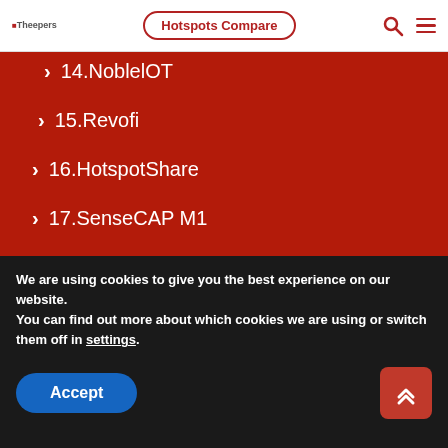Hotspots Compare
14.NoblelOT
15.Revofi
16.HotspotShare
17.SenseCAP M1
FAQ-Matchx.io
FAQ-Bobcatminer.com
We are using cookies to give you the best experience on our website.
You can find out more about which cookies we are using or switch them off in settings.
Accept